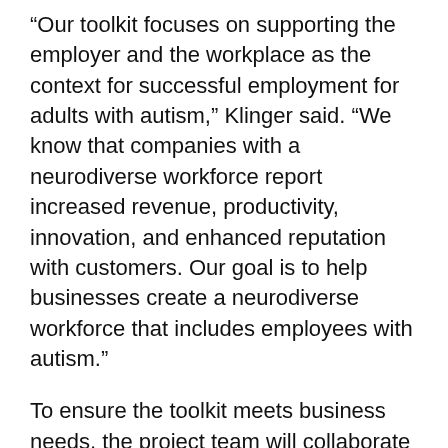“Our toolkit focuses on supporting the employer and the workplace as the context for successful employment for adults with autism,” Klinger said. “We know that companies with a neurodiverse workforce report increased revenue, productivity, innovation, and enhanced reputation with customers. Our goal is to help businesses create a neurodiverse workforce that includes employees with autism.”
To ensure the toolkit meets business needs, the project team will collaborate with the Linking NC with Innovative Talent Program, a statewide public/private partnership of government, nonprofits, and employers dedicated to creating internships for adults with autism. The team also will collaborate with campus partners by integrating the University’s clinical and research knowledge of autism as well as business entrepreneurship expertise, in addition to Klinger’s team’s...